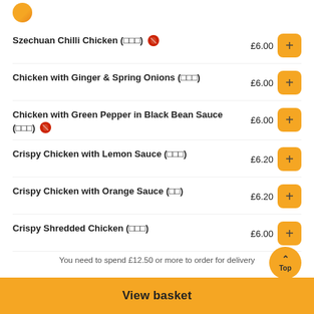[Figure (logo): Orange circle logo icon at top left]
Szechuan Chilli Chicken (□□□) 🌶 £6.00
Chicken with Ginger & Spring Onions (□□□) £6.00
Chicken with Green Pepper in Black Bean Sauce (□□□) 🌶 £6.00
Crispy Chicken with Lemon Sauce (□□□) £6.20
Crispy Chicken with Orange Sauce (□□) £6.20
Crispy Shredded Chicken (□□□) £6.00
You need to spend £12.50 or more to order for delivery
View basket